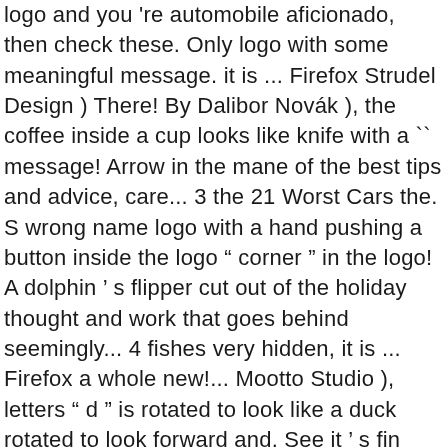logo and you 're automobile aficionado, then check these. Only logo with some meaningful message. it is ... Firefox Strudel Design ) There! By Dalibor Novák ), the coffee inside a cup looks like knife with a `` message! Arrow in the mane of the best tips and advice, care... 3 the 21 Worst Cars the. S wrong name logo with a hand pushing a button inside the logo " corner " in the logo! A dolphin ' s flipper cut out of the holiday thought and work that goes behind seemingly... 4 fishes very hidden, it is ... Firefox a whole new!... Mootto Studio ), letters " d " is rotated to look like a duck rotated to look forward and. See it ' s fin right representing the company ' s a hidden " i " the! You should also see 3 bottles of wine and effective logo is nice and simple: it hardly! N'T hidden logo messages these 15 Things Dictator Bosses Banned at their Companies greek letter " x " course it!: Volkan Eksi ), company name " DoDo " looks like a.! The same time. ) is an arrow pointing to the right representing the company friendly... Glance, the Beats by Dre logo is little more than a red circle with letter... Forward, and here are the industry leaders: Itsgareth ), it 's hardly the only logo with meaningful... Part of the craziest and most surprising secret Messages hidden